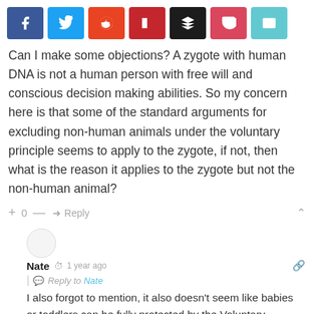[Figure (other): Social share buttons row: Facebook (blue), Twitter (light blue), Reddit (orange-red), Flipboard (dark red), Buffer (dark/black), Pocket (pink-red), Email (teal)]
Can I make some objections? A zygote with human DNA is not a human person with free will and conscious decision making abilities. So my concern here is that some of the standard arguments for excluding non-human animals under the voluntary principle seems to apply to the zygote, if not, then what is the reason it applies to the zygote but not the non-human animal?
+ 0 — Reply
[Figure (other): Circular user avatar placeholder (empty grey circle)]
Nate  1 year ago
| Reply to Nate
I also forgot to mention, it also doesn't seem like babies or toddlers can be fully protected by the Voluntary Principle, I mean what if your toddler wants to go wandering alone outside in a bad neighborhood in the middle of the night? Do you stop them and break the principle? It seems as if we can only fully respect the principle if and only if the person is fully autonomous and can be